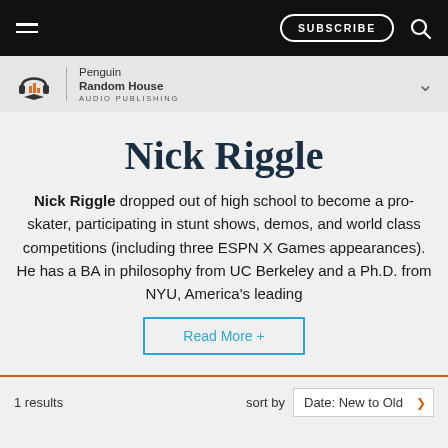SUBSCRIBE
[Figure (logo): Penguin Random House Audio Publishing logo with headphones and book icon]
Nick Riggle
Nick Riggle dropped out of high school to become a pro-skater, participating in stunt shows, demos, and world class competitions (including three ESPN X Games appearances). He has a BA in philosophy from UC Berkeley and a Ph.D. from NYU, America's leading
Read More +
1 results
sort by  Date: New to Old